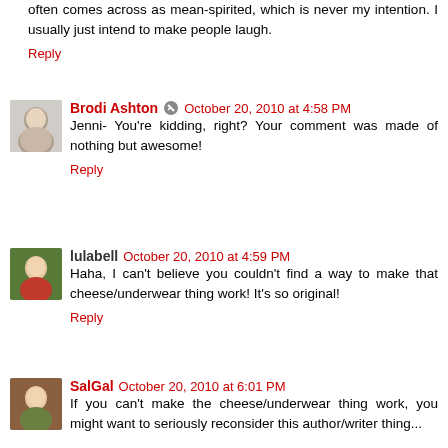often comes across as mean-spirited, which is never my intention. I usually just intend to make people laugh.
Reply
Brodi Ashton  October 20, 2010 at 4:58 PM
Jenni- You're kidding, right? Your comment was made of nothing but awesome!
Reply
lulabell  October 20, 2010 at 4:59 PM
Haha, I can't believe you couldn't find a way to make that cheese/underwear thing work! It's so original!
Reply
SalGal  October 20, 2010 at 6:01 PM
If you can't make the cheese/underwear thing work, you might want to seriously reconsider this author/writer thing...